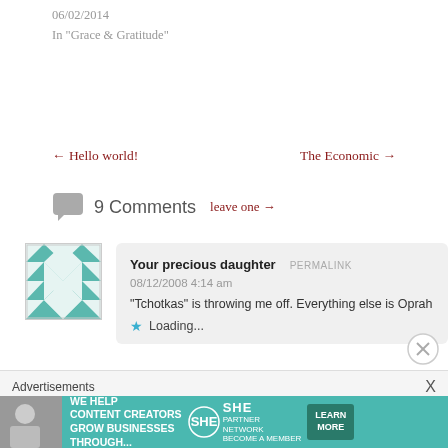06/02/2014
In "Grace & Gratitude"
← Hello world!
The Economic →
9 Comments   leave one →
Your precious daughter   PERMALINK
08/12/2008 4:14 am
"Tchotkas" is throwing me off. Everything else is Oprah ma…
★ Loading...
Advertisements
[Figure (infographic): SHE Partner Network advertisement banner: We help content creators grow businesses through...]